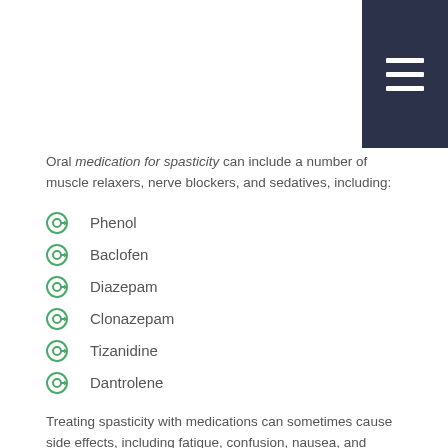Oral medication for spasticity can include a number of muscle relaxers, nerve blockers, and sedatives, including:
Phenol
Baclofen
Diazepam
Clonazepam
Tizanidine
Dantrolene
Treating spasticity with medications can sometimes cause side effects, including fatigue, confusion, nausea, and difficulty breathing or swallowing. You should only begin taking spasticity medication under the guidance of a healthcare practitioner.
Alternative to traditional medication, BOTOX® injections are FDA-approved to treat upper and lower limb spasticity and is often more successful than oral medication. These injections usually take effect within seven to ten days and can last up to 12...